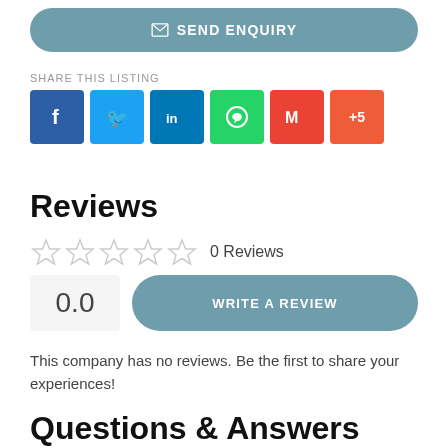SEND ENQUIRY
SHARE THIS LISTING
[Figure (infographic): Social sharing icons: Facebook, Twitter, LinkedIn, WhatsApp, Gmail, +5 more]
Reviews
0 Reviews
0.0
WRITE A REVIEW
This company has no reviews. Be the first to share your experiences!
Questions & Answers